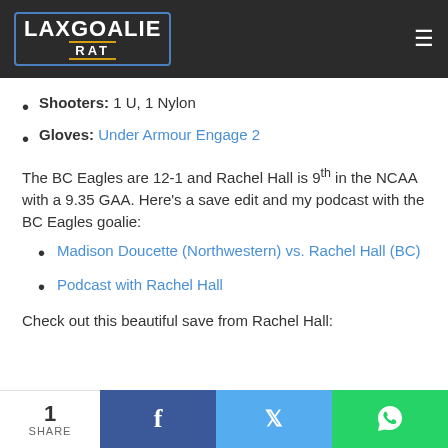Lax Goalie Rat
Shooters: 1 U, 1 Nylon
Gloves: Under Armour Engage 2
The BC Eagles are 12-1 and Rachel Hall is 9th in the NCAA with a 9.35 GAA. Here’s a save edit and my podcast with the BC Eagles goalie:
Madison Doucette (Northwestern) vs. Rachel Hall (BC)
Podcast with Rachel Hall
Check out this beautiful save from Rachel Hall: